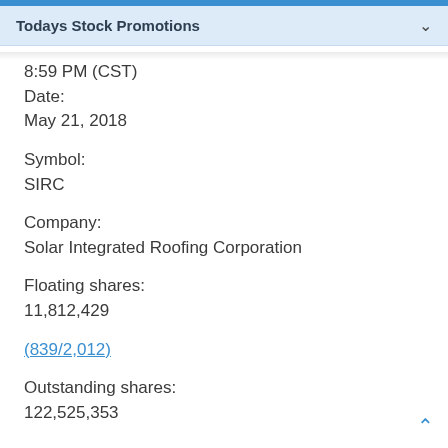Todays Stock Promotions
8:59 PM (CST)
Date:
May 21, 2018
Symbol:
SIRC
Company:
Solar Integrated Roofing Corporation
Floating shares:
11,812,429
(839/2,012)
Outstanding shares:
122,525,353